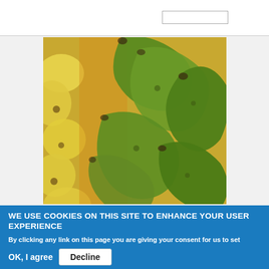[Figure (photo): Close-up photograph of green and yellow bananas clustered together, showing unripe green bananas in the foreground and ripe yellow bananas on the left side.]
WE USE COOKIES ON THIS SITE TO ENHANCE YOUR USER EXPERIENCE
By clicking any link on this page you are giving your consent for us to set cookies. More info
OK, I agree   Decline